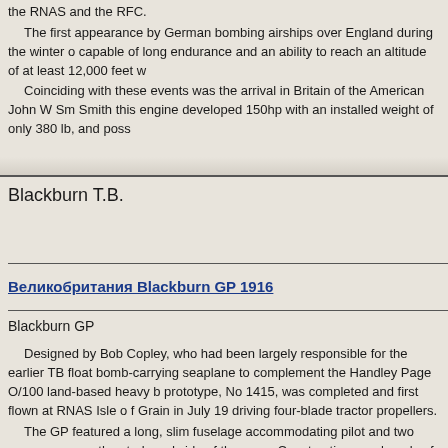the RNAS and the RFC.
  The first appearance by German bombing airships over England during the winter o capable of long endurance and an ability to reach an altitude of at least 12,000 feet w
  Coinciding with these events was the arrival in Britain of the American John W Sm Smith this engine developed 150hp with an installed weight of only 380 lb, and poss
Blackburn T.B.
Великобритания Blackburn GP 1916
Blackburn GP
Designed by Bob Copley, who had been largely responsible for the earlier TB float bomb-carrying seaplane to complement the Handley Page O/100 land-based heavy b prototype, No 1415, was completed and first flown at RNAS Isle o f Grain in July 19 driving four-blade tractor propellers.
  The GP featured a long, slim fuselage accommodating pilot and two gunners, one o the starboard side of the nose. Construction was largely of wood with metal joint fitt